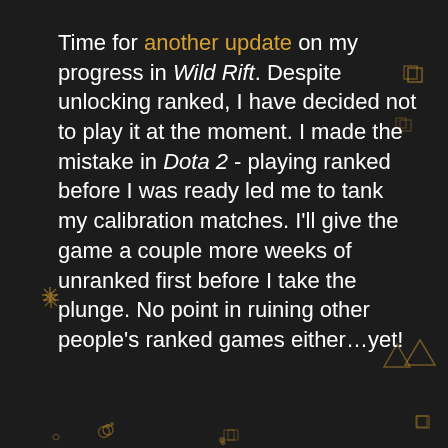Time for another update on my progress in Wild Rift. Despite unlocking ranked, I have decided not to play it at the moment. I made the mistake in Dota 2 - playing ranked before I was ready led me to tank my calibration matches. I'll give the game a couple more weeks of unranked first before I take the plunge. No point in ruining other people's ranked games either…yet!